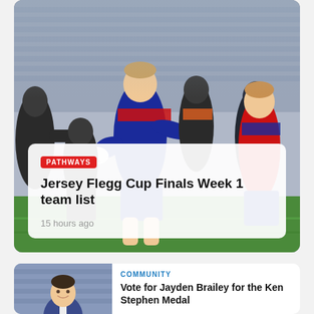[Figure (photo): Rugby league players in action on a field. A player in red and blue jersey carrying the ball is being tackled by opponents in black. Stadium seating visible in background.]
PATHWAYS
Jersey Flegg Cup Finals Week 1 team list
15 hours ago
[Figure (photo): Man in a suit smiling, photographed in front of stadium seating.]
COMMUNITY
Vote for Jayden Brailey for the Ken Stephen Medal